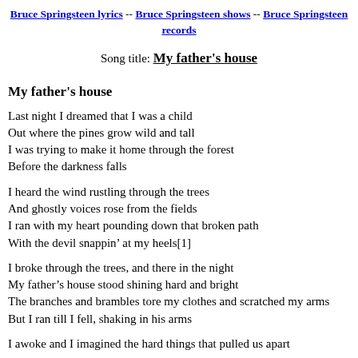Bruce Springsteen lyrics -- Bruce Springsteen shows -- Bruce Springsteen records
Song title: My father's house
My father's house
Last night I dreamed that I was a child
Out where the pines grow wild and tall
I was trying to make it home through the forest
Before the darkness falls
I heard the wind rustling through the trees
And ghostly voices rose from the fields
I ran with my heart pounding down that broken path
With the devil snappin’ at my heels[1]
I broke through the trees, and there in the night
My father’s house stood shining hard and bright
The branches and brambles tore my clothes and scratched my arms
But I ran till I fell, shaking in his arms
I awoke and I imagined the hard things that pulled us apart